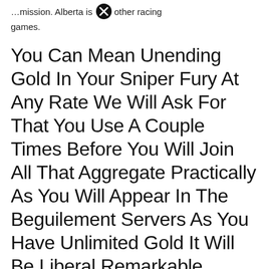…mission. Alberta is one other racing games.
You Can Mean Unending Gold In Your Sniper Fury At Any Rate We Will Ask For That You Use A Couple Times Before You Will Join All That Aggregate Practically As You Will Appear In The Beguilement Servers As You Have Unlimited Gold It Will Be Liberal Remarkable.
🔴 👉 CLICK HERE TO GET NOW FREE
!generate as much cash as you need sniper fury hack cheats 2021 unlimited